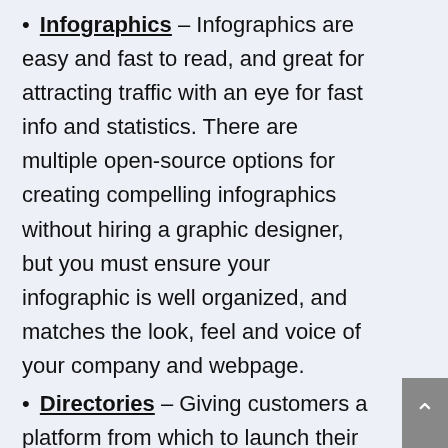Infographics – Infographics are easy and fast to read, and great for attracting traffic with an eye for fast info and statistics. There are multiple open-source options for creating compelling infographics without hiring a graphic designer, but you must ensure your infographic is well organized, and matches the look, feel and voice of your company and webpage.
Directories – Giving customers a platform from which to launch their own research is a great way to attract traffic to your page. For example, an automobile manufacturer might link